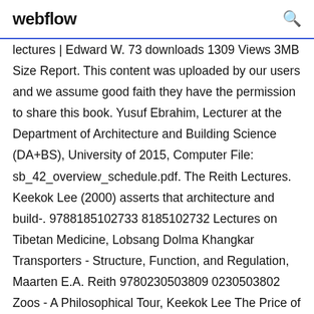webflow
lectures | Edward W. 73 downloads 1309 Views 3MB Size Report. This content was uploaded by our users and we assume good faith they have the permission to share this book. Yusuf Ebrahim, Lecturer at the Department of Architecture and Building Science (DA+BS), University of 2015, Computer File: sb_42_overview_schedule.pdf. The Reith Lectures. Keekok Lee (2000) asserts that architecture and build-. 9788185102733 8185102732 Lectures on Tibetan Medicine, Lobsang Dolma Khangkar Transporters - Structure, Function, and Regulation, Maarten E.A. Reith 9780230503809 0230503802 Zoos - A Philosophical Tour, Keekok Lee The Price of